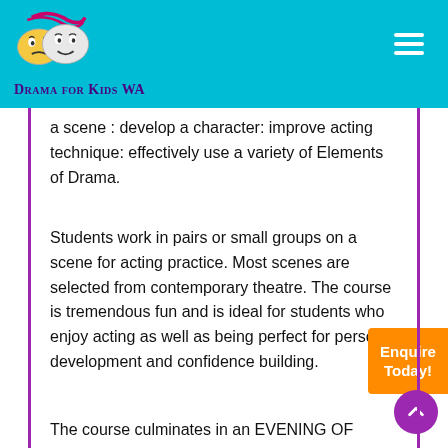Drama for Kids WA
a scene : develop a character: improve acting technique: effectively use a variety of Elements of Drama.
Students work in pairs or small groups on a scene for acting practice. Most scenes are selected from contemporary theatre. The course is tremendous fun and is ideal for students who enjoy acting as well as being perfect for personal development and confidence building.
The course culminates in an EVENING OF THEATRE a performance for family and friends to enjoy.